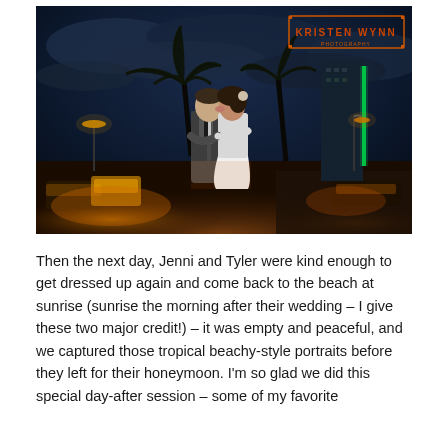[Figure (photo): Nighttime wedding photo of a couple kissing outdoors. A man in a grey vest and a woman in a white wedding dress embrace and kiss under a dramatic dark blue cloudy night sky. In the background are palm trees, a tall hotel/building with green lighting, parking lots, street lights, and parked cars illuminated with warm orange light. A watermark in the top right reads 'KRISTEN WYNN' in orange text with bracket-style borders.]
Then the next day, Jenni and Tyler were kind enough to get dressed up again and come back to the beach at sunrise (sunrise the morning after their wedding – I give these two major credit!) – it was empty and peaceful, and we captured those tropical beachy-style portraits before they left for their honeymoon. I'm so glad we did this special day-after session – some of my favorite